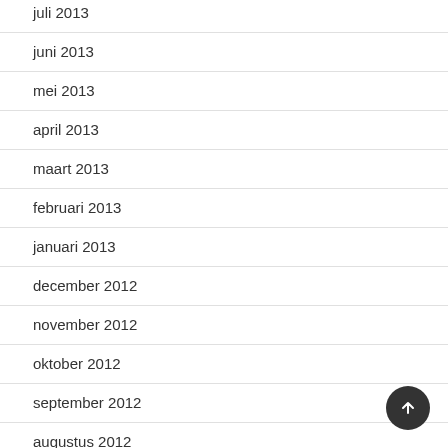juli 2013
juni 2013
mei 2013
april 2013
maart 2013
februari 2013
januari 2013
december 2012
november 2012
oktober 2012
september 2012
augustus 2012
juli 2012